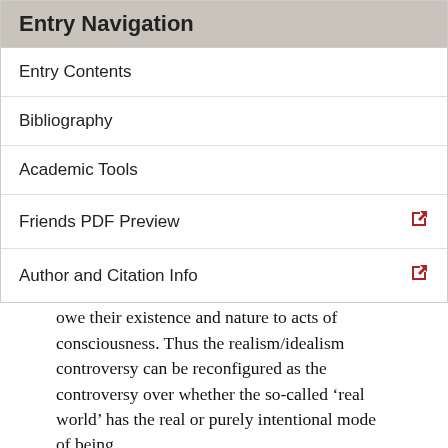Entry Navigation
Entry Contents
Bibliography
Academic Tools
Friends PDF Preview
Author and Citation Info
fictional characters and other entities which owe their existence and nature to acts of consciousness. Thus the realism/idealism controversy can be reconfigured as the controversy over whether the so-called ‘real world’ has the real or purely intentional mode of being.
3. Aesthetics
3.1 The Literary Work of Art
By far Ingarden’s best-known and most influential work,